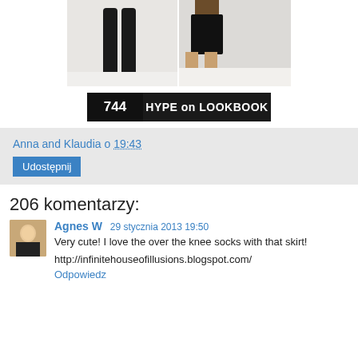[Figure (photo): Two fashion photos side by side showing women in black outfits with knee-high socks/boots in a winter outdoor setting]
744  HYPE on LOOKBOOK
Anna and Klaudia o 19:43
Udostępnij
206 komentarzy:
Agnes W  29 stycznia 2013 19:50
Very cute! I love the over the knee socks with that skirt!
http://infinitehouseofillusions.blogspot.com/
Odpowiedz